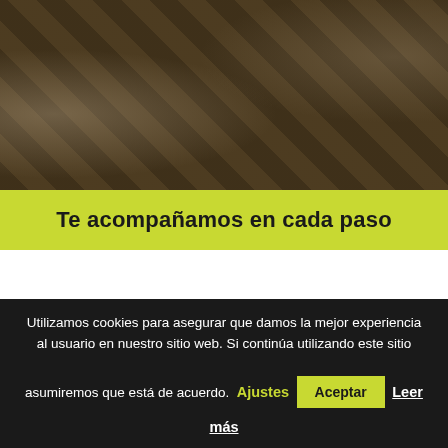[Figure (photo): Dark overhead photo of a person holding items on a wooden table, heavily darkened with overlay]
Te acompañamos en cada paso
[Figure (photo): Three panel bottom section: left photo of blurred objects, center shows a decorative swirl logo with brand text, right photo of blurred objects]
Utilizamos cookies para asegurar que damos la mejor experiencia al usuario en nuestro sitio web. Si continúa utilizando este sitio asumiremos que está de acuerdo.
Ajustes
Aceptar
Leer más